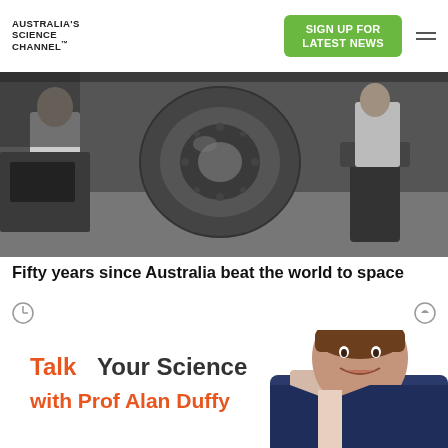AUSTRALIA'S SCIENCE CHANNEL™
[Figure (photo): Black and white photo of scientific/space equipment being operated by people in lab coats]
Fifty years since Australia beat the world to space
[Figure (illustration): Talk Your Science with Prof Alan Duffy promotional banner with photo of smiling man in suit]